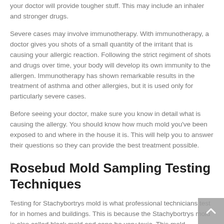your doctor will provide tougher stuff. This may include an inhaler and stronger drugs.
Severe cases may involve immunotherapy. With immunotherapy, a doctor gives you shots of a small quantity of the irritant that is causing your allergic reaction. Following the strict regiment of shots and drugs over time, your body will develop its own immunity to the allergen. Immunotherapy has shown remarkable results in the treatment of asthma and other allergies, but it is used only for particularly severe cases.
Before seeing your doctor, make sure you know in detail what is causing the allergy. You should know how much mold you've been exposed to and where in the house it is. This will help you to answer their questions so they can provide the best treatment possible.
Rosebud Mold Sampling Testing Techniques
Testing for Stachybortrys mold is what professional technicians test for in homes and buildings. This is because the Stachybortrys mold is also called black mold and cane be very toxic. This mold